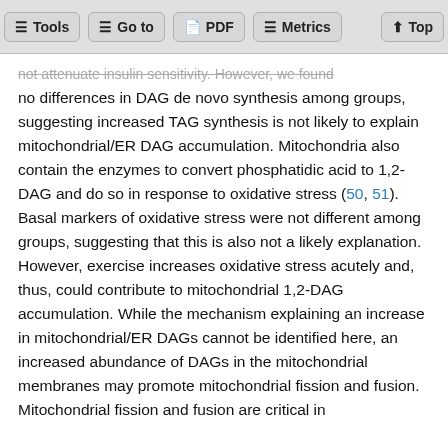Tools | Go to | PDF | Metrics | Top
not attenuate insulin sensitivity. However, we found no differences in DAG de novo synthesis among groups, suggesting increased TAG synthesis is not likely to explain mitochondrial/ER DAG accumulation. Mitochondria also contain the enzymes to convert phosphatidic acid to 1,2-DAG and do so in response to oxidative stress (50, 51). Basal markers of oxidative stress were not different among groups, suggesting that this is also not a likely explanation. However, exercise increases oxidative stress acutely and, thus, could contribute to mitochondrial 1,2-DAG accumulation. While the mechanism explaining an increase in mitochondrial/ER DAGs cannot be identified here, an increased abundance of DAGs in the mitochondrial membranes may promote mitochondrial fission and fusion. Mitochondrial fission and fusion are critical in